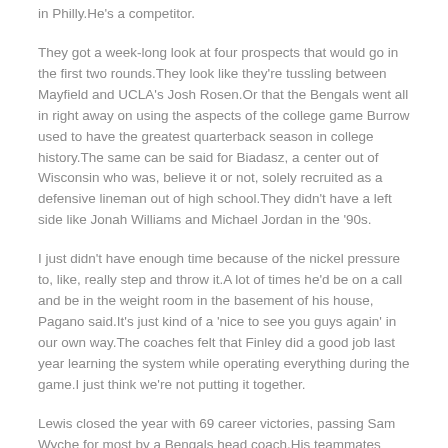in Philly.He's a competitor.
They got a week-long look at four prospects that would go in the first two rounds.They look like they're tussling between Mayfield and UCLA's Josh Rosen.Or that the Bengals went all in right away on using the aspects of the college game Burrow used to have the greatest quarterback season in college history.The same can be said for Biadasz, a center out of Wisconsin who was, believe it or not, solely recruited as a defensive lineman out of high school.They didn't have a left side like Jonah Williams and Michael Jordan in the '90s.
I just didn't have enough time because of the nickel pressure to, like, really step and throw it.A lot of times he'd be on a call and be in the weight room in the basement of his house, Pagano said.It's just kind of a 'nice to see you guys again' in our own way.The coaches felt that Finley did a good job last year learning the system while operating everything during the game.I just think we're not putting it together.
Lewis closed the year with 69 career victories, passing Sam Wyche for most by a Bengals head coach.His teammates have noticed he's much more comfortable and assertive when he needs to be.College: Played four seasons at Texas, appearing in 50 games with 42 starts